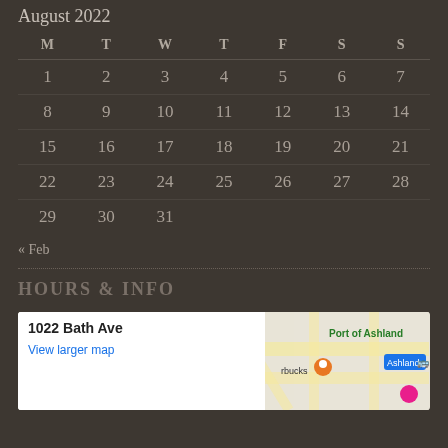August 2022
| M | T | W | T | F | S | S |
| --- | --- | --- | --- | --- | --- | --- |
| 1 | 2 | 3 | 4 | 5 | 6 | 7 |
| 8 | 9 | 10 | 11 | 12 | 13 | 14 |
| 15 | 16 | 17 | 18 | 19 | 20 | 21 |
| 22 | 23 | 24 | 25 | 26 | 27 | 28 |
| 29 | 30 | 31 |  |  |  |  |
« Feb
HOURS & INFO
[Figure (map): Google map showing 1022 Bath Ave with streets and Port of Ashland area visible]
1022 Bath Ave
View larger map